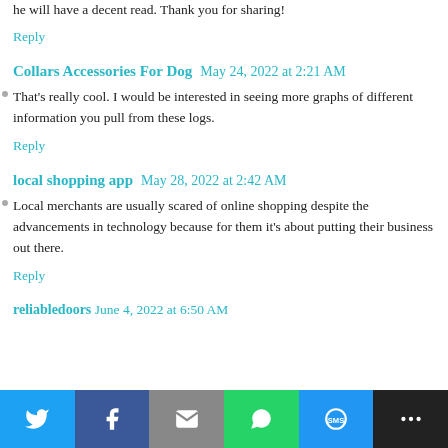he will have a decent read. Thank you for sharing!
Reply
Collars Accessories For Dog  May 24, 2022 at 2:21 AM
That's really cool. I would be interested in seeing more graphs of different information you pull from these logs.
Reply
local shopping app  May 28, 2022 at 2:42 AM
Local merchants are usually scared of online shopping despite the advancements in technology because for them it's about putting their business out there.
Reply
reliabledoors  June 4, 2022 at 6:50 AM
[Figure (infographic): Social sharing bar with Twitter, Facebook, Email, WhatsApp, SMS, and More buttons]